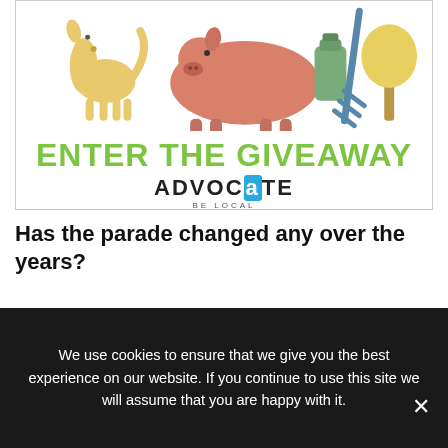[Figure (illustration): Giveaway advertisement banner showing colorful animal and nature illustrations (pig, dog, tree, rake) above bold green text 'ENTER THE GIVEAWAY' and the Advocate 'BE LOCAL' logo]
Has the parade changed any over the years?
Hensely: Not really – it's just gotten a little bigger. It's really a grassroots effort. It's just a simple neighborhood Fourth of July
We use cookies to ensure that we give you the best experience on our website. If you continue to use this site we will assume that you are happy with it.